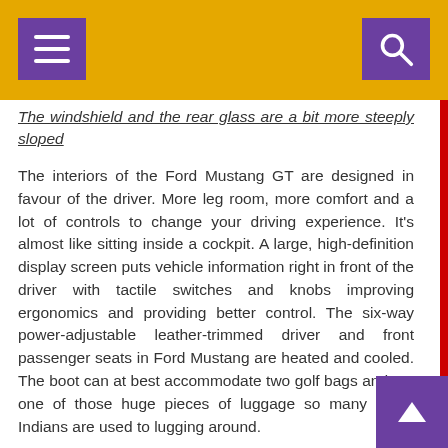The windshield and the rear glass are a bit more steeply sloped
The interiors of the Ford Mustang GT are designed in favour of the driver. More leg room, more comfort and a lot of controls to change your driving experience. It's almost like sitting inside a cockpit. A large, high-definition display screen puts vehicle information right in front of the driver with tactile switches and knobs improving ergonomics and providing better control. The six-way power-adjustable leather-trimmed driver and front passenger seats in Ford Mustang are heated and cooled. The boot can at best accommodate two golf bags and not one of those huge pieces of luggage so many of us Indians are used to lugging around.
Ok, the Ford Mustang GT is not really about family holidays with tons of luggage but rather it's about those travelling fast and light. All you got to do is to keep the key fob with you and press on the start/Stop button on the dash. The throaty noise from the V8 machine let's you know that the car is ready to eat up the road in front of you. Technically